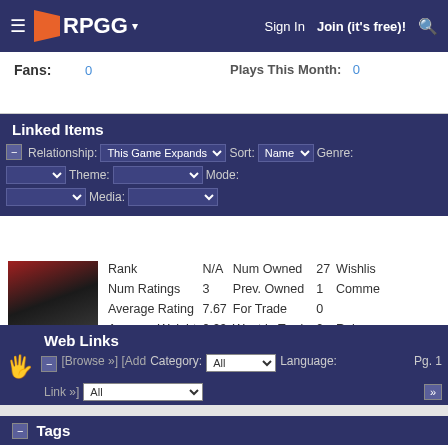RPGG | Sign In | Join (it's free)!
Fans: 0   Plays This Month: 0
Linked Items
Relationship: This Game Expands  Sort: Name  Genre:
 Theme:  Mode:
 Media:
[Figure (screenshot): Train Simulator game thumbnail image]
| Stat | Value | Stat | Value | Stat |
| --- | --- | --- | --- | --- |
| Rank | N/A | Num Owned | 27 | Wishlis |
| Num Ratings | 3 | Prev. Owned | 1 | Comme |
| Average Rating | 7.67 | For Trade | 0 |  |
| Average Weight | 0.00 | Want in Trade | 0 | Release |
Train Simulator
Web Links
[Browse »] [Add Link »]  Category: All  Language:  All  Pg. 1
No Web Links Found
Tags
Your Tags: Add tags